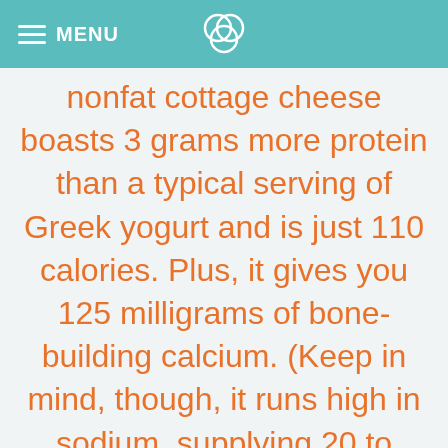MENU
nonfat cottage cheese boasts 3 grams more protein than a typical serving of Greek yogurt and is just 110 calories. Plus, it gives you 125 milligrams of bone-building calcium. (Keep in mind, though, it runs high in sodium, supplying 20 to 30% of your daily